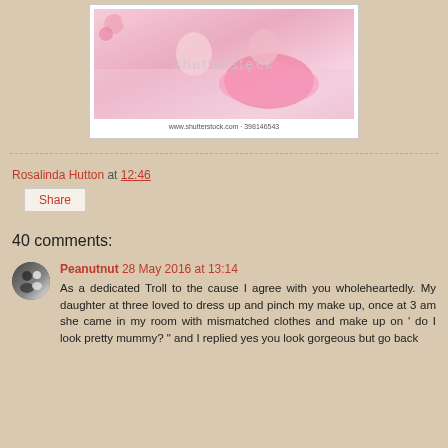[Figure (photo): Shutterstock stock photo showing a woman and a young girl in a pink tutu dress on a bed, with makeup items. Watermark reads 'shutterstock'. URL and ID: www.shutterstock.com · 398146543]
Rosalinda Hutton at 12:46
Share
40 comments:
Peanutnut  28 May 2016 at 13:14
As a dedicated Troll to the cause I agree with you wholeheartedly. My daughter at three loved to dress up and pinch my make up, once at 3 am she came in my room with mismatched clothes and make up on ' do I look pretty mummy? " and I replied yes you look gorgeous but go back